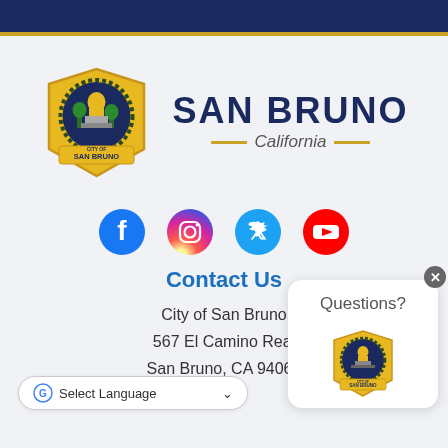[Figure (logo): City of San Bruno seal and logo with text SAN BRUNO California]
[Figure (infographic): Social media icons: Facebook, Instagram, Twitter, YouTube]
Contact Us
City of San Bruno
567 El Camino Real
San Bruno, CA 94066